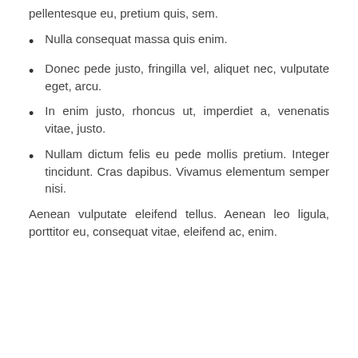pellentesque eu, pretium quis, sem.
Nulla consequat massa quis enim.
Donec pede justo, fringilla vel, aliquet nec, vulputate eget, arcu.
In enim justo, rhoncus ut, imperdiet a, venenatis vitae, justo.
Nullam dictum felis eu pede mollis pretium. Integer tincidunt. Cras dapibus. Vivamus elementum semper nisi.
Aenean vulputate eleifend tellus. Aenean leo ligula, porttitor eu, consequat vitae, eleifend ac, enim.